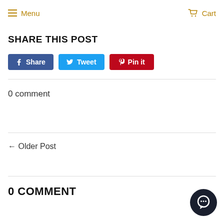Menu | Cart
SHARE THIS POST
[Figure (other): Social sharing buttons: Share (Facebook, blue), Tweet (Twitter, light blue), Pin it (Pinterest, red)]
0 comment
← Older Post
0 COMMENT
[Figure (other): Chat bubble widget button in dark circle, bottom right corner]